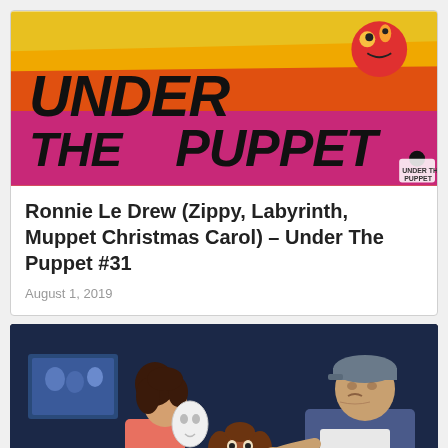[Figure (logo): Under The Puppet colorful logo banner with yellow, orange, red and pink stripes and cartoon puppet characters]
Ronnie Le Drew (Zippy, Labyrinth, Muppet Christmas Carol) – Under The Puppet #31
August 1, 2019
[Figure (photo): A woman holding a white mask and a furry puppet (horse/lion-like) standing next to an older man in a blue robe on a darkened stage, with a screen visible in the background]